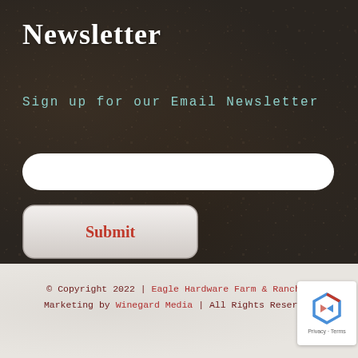Newsletter
Sign up for our Email Newsletter
[Figure (screenshot): Email input text field, white rounded rectangle]
[Figure (screenshot): Submit button, light gray rounded rectangle with red bold text]
© Copyright 2022 | Eagle Hardware Farm & Ranch | Marketing by Winegard Media | All Rights Reserved